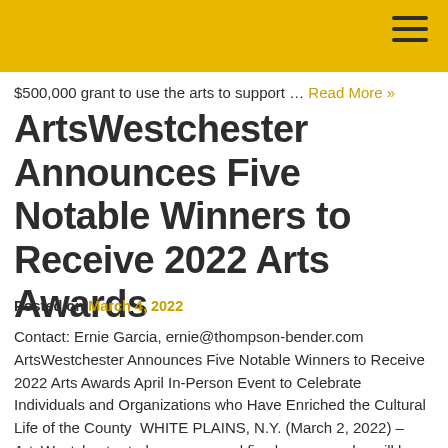$500,000 grant to use the arts to support … Read More »
ArtsWestchester Announces Five Notable Winners to Receive 2022 Arts Awards
Posted on March 4, 2022
Contact: Ernie Garcia, ernie@thompson-bender.com ArtsWestchester Announces Five Notable Winners to Receive 2022 Arts Awards April In-Person Event to Celebrate Individuals and Organizations who Have Enriched the Cultural Life of the County  WHITE PLAINS, N.Y. (March 2, 2022) – ArtsWestchester today announced five honorees who will be spotlighted at its annual Arts Awards Celebration to be … Read More »